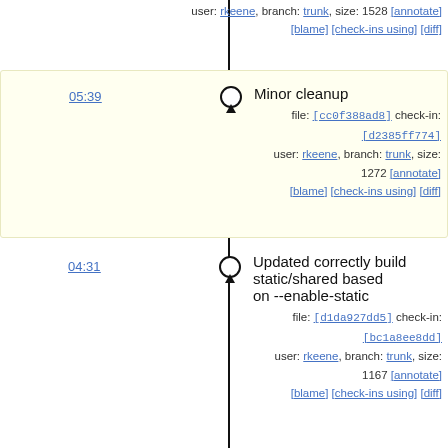user: rkeene, branch: trunk, size: 1528 [annotate] [blame] [check-ins using] [diff]
05:39 — Minor cleanup
file: [cc0f388ad8] check-in: [d2385ff774]
user: rkeene, branch: trunk, size: 1272 [annotate] [blame] [check-ins using] [diff]
04:31 — Updated correctly build static/shared based on --enable-static
file: [d1da927dd5] check-in: [bc1a8ee8dd]
user: rkeene, branch: trunk, size: 1167 [annotate] [blame] [check-ins using] [diff]
04:00 — Updated to only expose public symbols
file: [f0cb7ec28f] check-in: [5adbc973d7]
user: rkeene, branch: trunk, size: 1119 [annotate] [blame] [check-ins using] [diff]
01:50 — Updated to be more simple about loading objects
file: [7c8c9edb2e] check-in: [5b517f12c1]
user: rkeene, branch: trunk, size: 967 [annotate] [blame] [check-ins using] [diff]
01:36